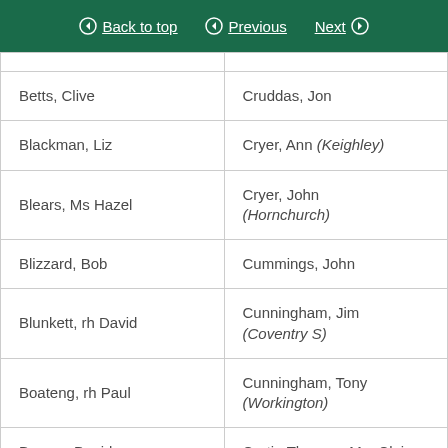Back to top | Previous | Next
| Betts, Clive | Cruddas, Jon |
| Blackman, Liz | Cryer, Ann (Keighley) |
| Blears, Ms Hazel | Cryer, John (Hornchurch) |
| Blizzard, Bob | Cummings, John |
| Blunkett, rh David | Cunningham, Jim (Coventry S) |
| Boateng, rh Paul | Cunningham, Tony (Workington) |
| Borrow, David | Curtis-Thomas, Mrs Claire |